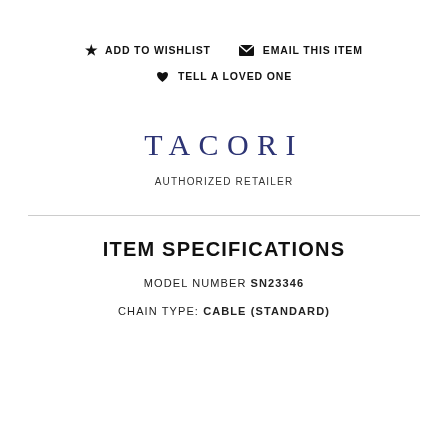★ ADD TO WISHLIST  ✉ EMAIL THIS ITEM
♥ TELL A LOVED ONE
[Figure (logo): TACORI brand logo in dark navy blue serif letters]
AUTHORIZED RETAILER
ITEM SPECIFICATIONS
MODEL NUMBER SN23346
CHAIN TYPE: CABLE (STANDARD)